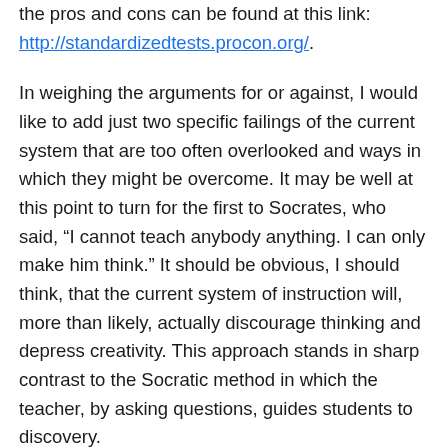the pros and cons can be found at this link: http://standardizedtests.procon.org/.
In weighing the arguments for or against, I would like to add just two specific failings of the current system that are too often overlooked and ways in which they might be overcome. It may be well at this point to turn for the first to Socrates, who said, “I cannot teach anybody anything. I can only make him think.” It should be obvious, I should think, that the current system of instruction will, more than likely, actually discourage thinking and depress creativity. This approach stands in sharp contrast to the Socratic method in which the teacher, by asking questions, guides students to discovery.